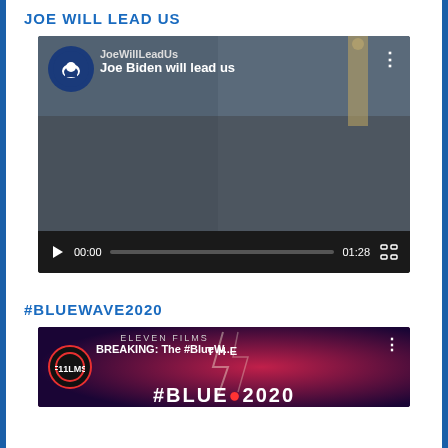JOE WILL LEAD US
[Figure (screenshot): YouTube video thumbnail showing Joe Biden with channel name JoeWillLeadUs and title 'Joe Biden will lead us', duration 01:28, with red YouTube play button in center and video controls bar at bottom.]
#BLUEWAVE2020
[Figure (screenshot): YouTube video thumbnail for Eleven Films channel showing 'BREAKING: The #BlueW...' with dark purple/red background and white text showing 'THE #BLUE...2020']